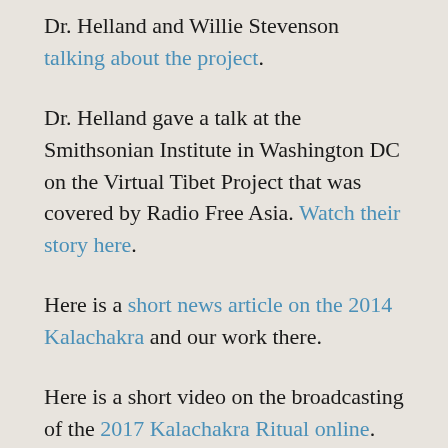Dr. Helland and Willie Stevenson talking about the project.
Dr. Helland gave a talk at the Smithsonian Institute in Washington DC on the Virtual Tibet Project that was covered by Radio Free Asia. Watch their story here.
Here is a short news article on the 2014 Kalachakra and our work there.
Here is a short video on the broadcasting of the 2017 Kalachakra Ritual online.